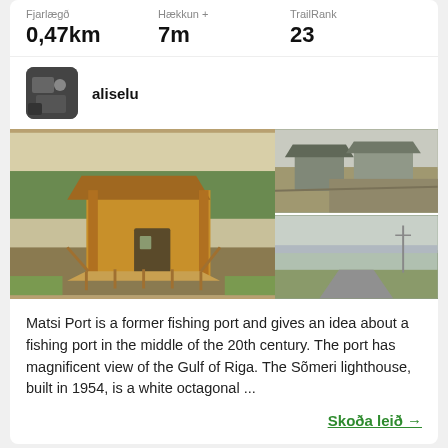Fjarlægð
0,47km
Hækkun +
7m
TrailRank
23
aliselu
[Figure (photo): Three trail/nature photos: left large photo shows a wooden cabin structure with boardwalk ramp; top right shows rural buildings and path; bottom right shows a road leading toward the sea.]
Matsi Port is a former fishing port and gives an idea about a fishing port in the middle of the 20th century. The port has magnificent view of the Gulf of Riga. The Sõmeri lighthouse, built in 1954, is a white octagonal ...
Skoða leið →